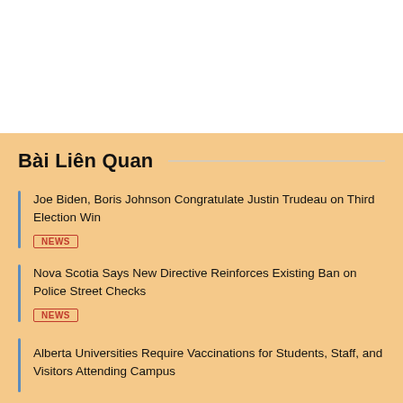Bài Liên Quan
Joe Biden, Boris Johnson Congratulate Justin Trudeau on Third Election Win
NEWS
Nova Scotia Says New Directive Reinforces Existing Ban on Police Street Checks
NEWS
Alberta Universities Require Vaccinations for Students, Staff, and Visitors Attending Campus